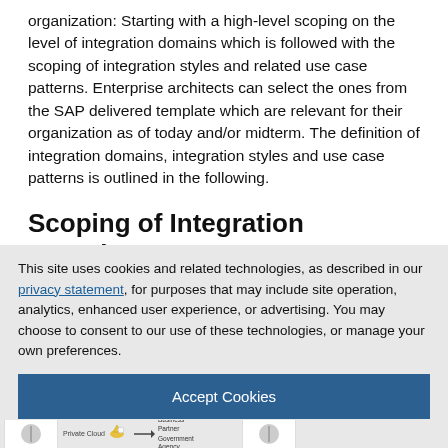organization: Starting with a high-level scoping on the level of integration domains which is followed with the scoping of integration styles and related use case patterns. Enterprise architects can select the ones from the SAP delivered template which are relevant for their organization as of today and/or midterm. The definition of integration domains, integration styles and use case patterns is outlined in the following.
Scoping of Integration Domains
As part of the first stage customers and partners revisit their
This site uses cookies and related technologies, as described in our privacy statement, for purposes that may include site operation, analytics, enhanced user experience, or advertising. You may choose to consent to our use of these technologies, or manage your own preferences.
Accept Cookies
More Information
Privacy Policy | Powered by: TrustArc